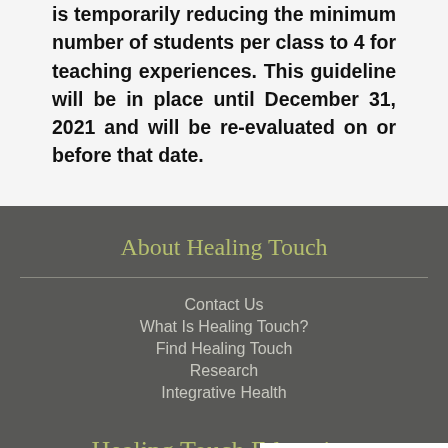is temporarily reducing the minimum number of students per class to 4 for teaching experiences. This guideline will be in place until December 31, 2021 and will be re-evaluated on or before that date.
About Healing Touch
Contact Us
What Is Healing Touch?
Find Healing Touch
Research
Integrative Health
Healing Touch Education
Healing Touch Cou…
[Figure (logo): Sucuri security badge with 'S+' logo and text 'secured by SUCURI']